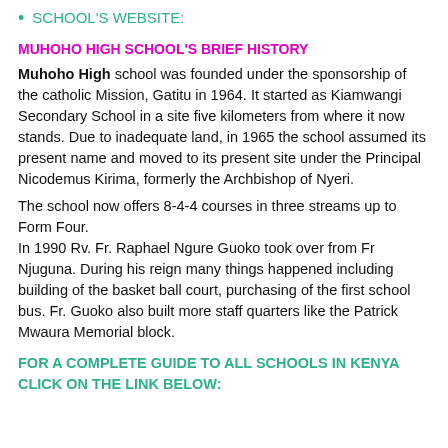SCHOOL'S WEBSITE:
MUHOHO HIGH SCHOOL'S BRIEF HISTORY
Muhoho High school was founded under the sponsorship of the catholic Mission, Gatitu in 1964. It started as Kiamwangi Secondary School in a site five kilometers from where it now stands. Due to inadequate land, in 1965 the school assumed its present name and moved to its present site under the Principal Nicodemus Kirima, formerly the Archbishop of Nyeri.
The school now offers 8-4-4 courses in three streams up to Form Four.
In 1990 Rv. Fr. Raphael Ngure Guoko took over from Fr Njuguna. During his reign many things happened including building of the basket ball court, purchasing of the first school bus. Fr. Guoko also built more staff quarters like the Patrick Mwaura Memorial block.
FOR A COMPLETE GUIDE TO ALL SCHOOLS IN KENYA CLICK ON THE LINK BELOW: